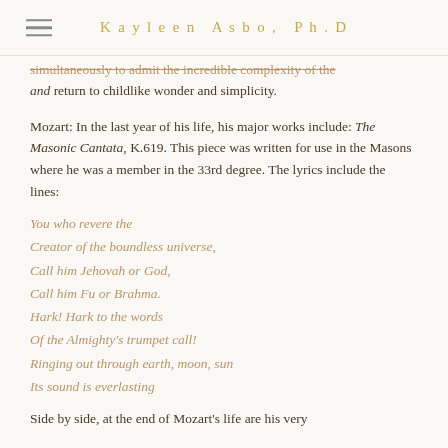Kayleen Asbo, Ph.D
simultaneously to admit the incredible complexity of the and return to childlike wonder and simplicity.
Mozart: In the last year of his life, his major works include: The Masonic Cantata, K.619. This piece was written for use in the Masons where he was a member in the 33rd degree. The lyrics include the lines:
You who revere the
Creator of the boundless universe,
Call him Jehovah or God,
Call him Fu or Brahma.
Hark! Hark to the words
Of the Almighty's trumpet call!
Ringing out through earth, moon, sun
Its sound is everlasting
Side by side, at the end of Mozart's life are his very